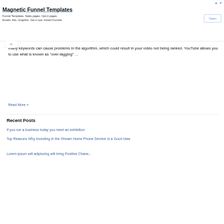[Figure (other): Advertisement banner for Magnetic Funnel Templates with an Open button]
many keywords can cause problems in the algorithm, which could result in your video not being ranked. YouTube allows you to use what is known as “over-tagging” …
Read More »
Recent Posts
If you run a business today you need an exhibition
Top Reasons Why Investing in the Xtream Home Phone Service Is a Good Idea